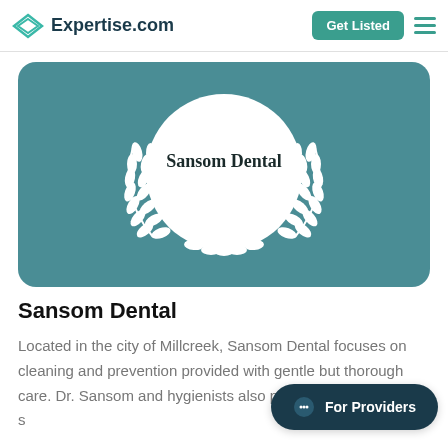Expertise.com — Get Listed
[Figure (logo): Sansom Dental award badge on teal background with white laurel wreath and circle]
Sansom Dental
Located in the city of Millcreek, Sansom Dental focuses on cleaning and prevention provided with gentle but thorough care. Dr. Sansom and hygienists also provide various other s…